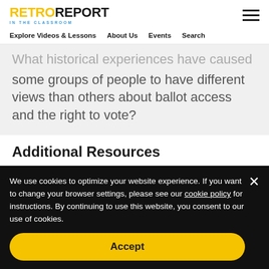RETRO REPORT IN THE CLASSROOM
Explore Videos & Lessons   About Us   Events   Search
What historical experiences have caused some groups of people to have different views than others about ballot access and the right to vote?
Additional Resources
We use cookies to optimize your website experience. If you want to change your browser settings, please see our cookie policy for instructions. By continuing to use this website, you consent to our use of cookies.
Accept